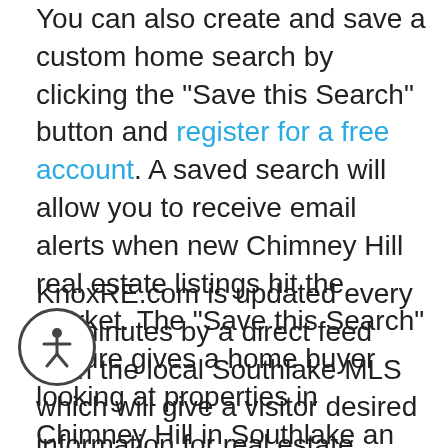You can also create and save a custom home search by clicking the "Save this Search" button and register for a free account. A saved search will allow you to receive email alerts when new Chimney Hill real estate listings hit the market. The "Save this Search" feature gives a home buyer looking at properties in Chimney Hill in Southlake an advantage for receiving the newest houses listed on the market in the area.
KnoxRE.com is updated every 15 minutes by a direct feed from the local Southlake MLS which will give a visitor desired information for real estate listings in Chimney Hill like property images; subdivision information; feeder school information; estimated county taxes and more. You can check the number of days a home has been on the market (DOM), the MLS number, and the current MLS listing status (active...